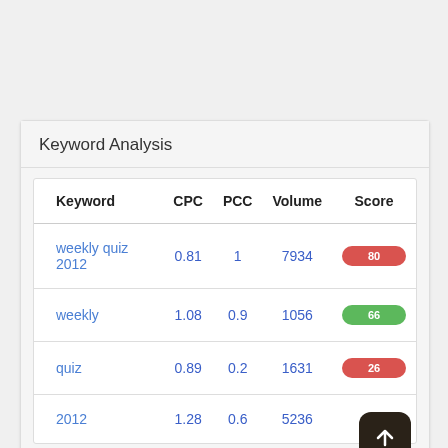Keyword Analysis
| Keyword | CPC | PCC | Volume | Score |
| --- | --- | --- | --- | --- |
| weekly quiz 2012 | 0.81 | 1 | 7934 | 80 |
| weekly | 1.08 | 0.9 | 1056 | 66 |
| quiz | 0.89 | 0.2 | 1631 | 26 |
| 2012 | 1.28 | 0.6 | 5236 |  |